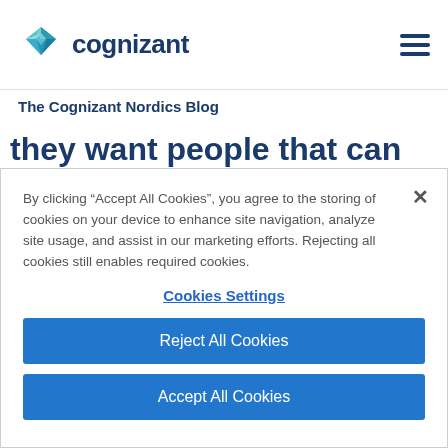[Figure (logo): Cognizant logo with diamond-shaped teal/blue icon and dark blue 'cognizant' wordmark]
The Cognizant Nordics Blog
they want people that can ignite the innovation needed to thrive in this era full of
By clicking "Accept All Cookies", you agree to the storing of cookies on your device to enhance site navigation, analyze site usage, and assist in our marketing efforts. Rejecting all cookies still enables required cookies.
Cookies Settings
Reject All Cookies
Accept All Cookies